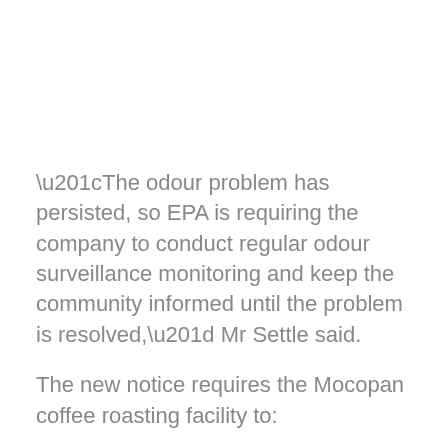“The odour problem has persisted, so EPA is requiring the company to conduct regular odour surveillance monitoring and keep the community informed until the problem is resolved,” Mr Settle said.
The new notice requires the Mocopan coffee roasting facility to:
• Conduct 13 field odour surveillance surveys over a 2-month period;